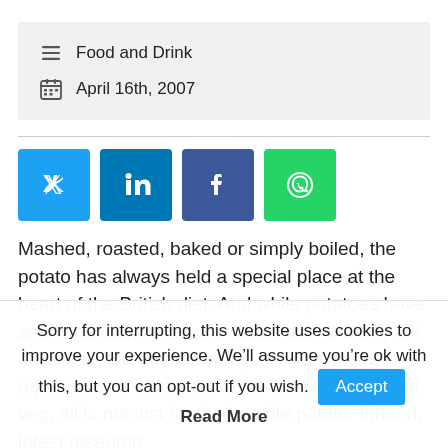Food and Drink
April 16th, 2007
[Figure (other): Social share buttons: Twitter, LinkedIn, Facebook, WhatsApp]
Mashed, roasted, baked or simply boiled, the potato has always held a special place at the heart of the British diet. And while potatoes have seen floundering volume sales, due to being left out of the ‘5 a day’ campaign and having a reputation for being the ‘white bread’ of fruit and veg, all is not lost for the humble potato. Indeed, latest research
Sorry for interrupting, this website uses cookies to improve your experience. We’ll assume you’re ok with this, but you can opt-out if you wish.  Accept  Read More